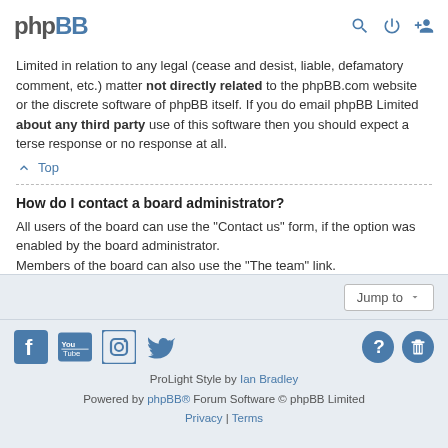phpBB
Limited in relation to any legal (cease and desist, liable, defamatory comment, etc.) matter not directly related to the phpBB.com website or the discrete software of phpBB itself. If you do email phpBB Limited about any third party use of this software then you should expect a terse response or no response at all.
Top
How do I contact a board administrator?
All users of the board can use the "Contact us" form, if the option was enabled by the board administrator.
Members of the board can also use the "The team" link.
Top
ProLight Style by Ian Bradley
Powered by phpBB® Forum Software © phpBB Limited
Privacy | Terms